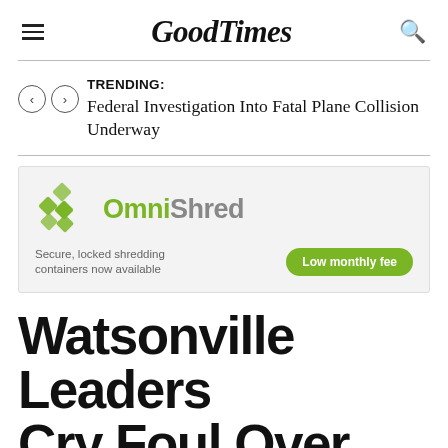GoodTimes
TRENDING: Federal Investigation Into Fatal Plane Collision Underway
[Figure (other): OmniShred advertisement: Secure, locked shredding containers now available. Low monthly fee.]
Watsonville Leaders Cry Foul Over